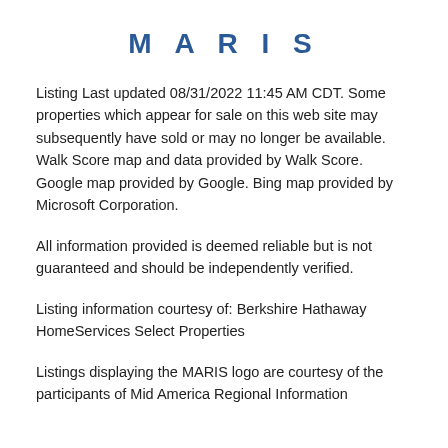MARIS
Listing Last updated 08/31/2022 11:45 AM CDT. Some properties which appear for sale on this web site may subsequently have sold or may no longer be available. Walk Score map and data provided by Walk Score. Google map provided by Google. Bing map provided by Microsoft Corporation.
All information provided is deemed reliable but is not guaranteed and should be independently verified.
Listing information courtesy of: Berkshire Hathaway HomeServices Select Properties
Listings displaying the MARIS logo are courtesy of the participants of Mid America Regional Information